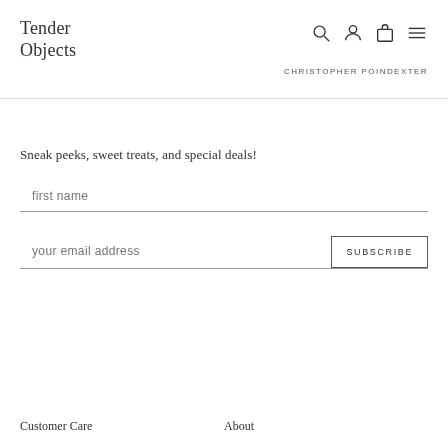Tender Objects
CHRISTOPHER POINDEXTER
Sneak peeks, sweet treats, and special deals!
first name
your email address
SUBSCRIBE
Customer Care  About